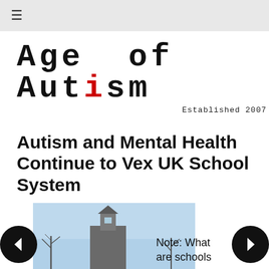≡
[Figure (logo): Age of Autism logo in distressed typewriter font with red letter i, Established 2007]
Autism and Mental Health Continue to Vex UK School System
[Figure (photo): Winter scene with a school building bell tower against a pale blue sky with bare trees]
Note: What are schools